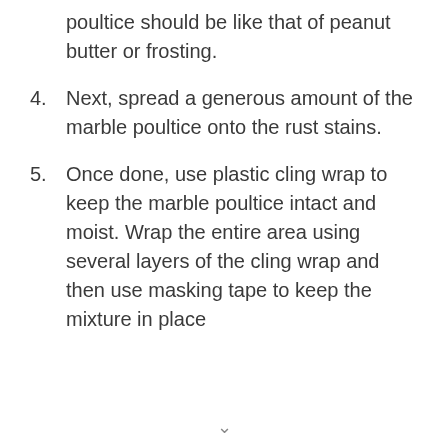poultice should be like that of peanut butter or frosting.
4. Next, spread a generous amount of the marble poultice onto the rust stains.
5. Once done, use plastic cling wrap to keep the marble poultice intact and moist. Wrap the entire area using several layers of the cling wrap and then use masking tape to keep the mixture in place